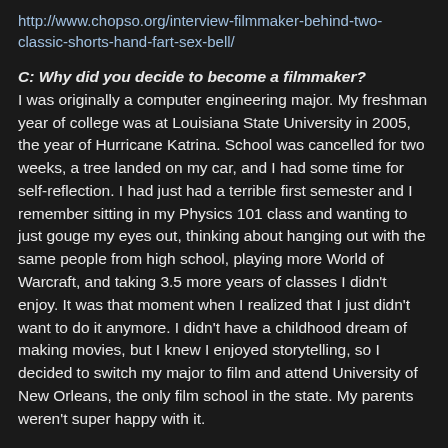http://www.chopso.org/interview-filmmaker-behind-two-classic-shorts-hand-fart-sex-bell/
C: Why did you decide to become a filmmaker? I was originally a computer engineering major. My freshman year of college was at Louisiana State University in 2005, the year of Hurricane Katrina. School was cancelled for two weeks, a tree landed on my car, and I had some time for self-reflection. I had just had a terrible first semester and I remember sitting in my Physics 101 class and wanting to just gouge my eyes out, thinking about hanging out with the same people from high school, playing more World of Warcraft, and taking 3.5 more years of classes I didn't enjoy. It was that moment when I realized that I just didn't want to do it anymore. I didn't have a childhood dream of making movies, but I knew I enjoyed storytelling, so I decided to switch my major to film and attend University of New Orleans, the only film school in the state. My parents weren't super happy with it.
I was also asked to submit another article on the story time zine. This issue focused on self discovery so I wrote about